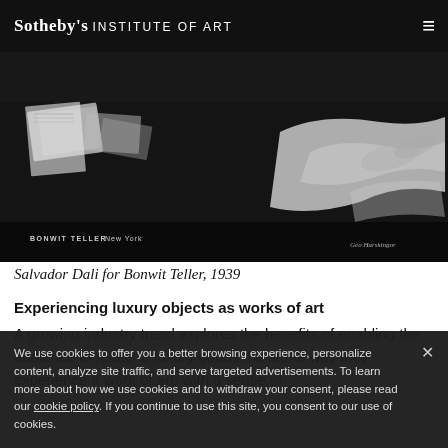Sotheby's INSTITUTE OF ART
[Figure (photo): Black and white photograph of a Bonwit Teller New York display, showing items on a dark surface including photographs and fabric/clothing. Text at bottom left reads 'BONWIT TELLER New York'. Signature at bottom right.]
Salvador Dali for Bonwit Teller, 1939
Experiencing luxury objects as works of art
A growing industry trend explores the benefits of enabling the audience to relate to luxury goods the same way they experience a work of art: with a sense of...
We use cookies to offer you a better browsing experience, personalize content, analyze site traffic, and serve targeted advertisements. To learn more about how we use cookies and to withdraw your consent, please read our cookie policy. If you continue to use this site, you consent to our use of cookies.